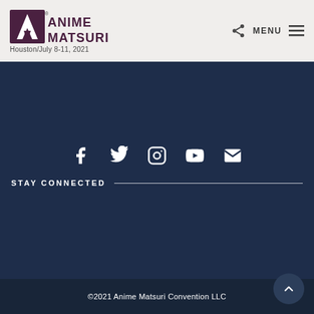Anime Matsuri — Houston/July 8-11, 2021
[Figure (logo): Anime Matsuri logo with triangular A mark and text ANIME MATSURI]
Houston/July 8-11, 2021
[Figure (infographic): Social media icons row: Facebook, Twitter, Instagram, YouTube, Email]
STAY CONNECTED
©2021 Anime Matsuri Convention LLC